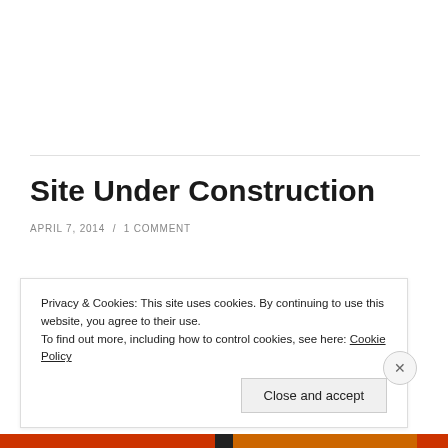Site Under Construction
APRIL 7, 2014 / 1 COMMENT
Privacy & Cookies: This site uses cookies. By continuing to use this website, you agree to their use.
To find out more, including how to control cookies, see here: Cookie Policy
Close and accept